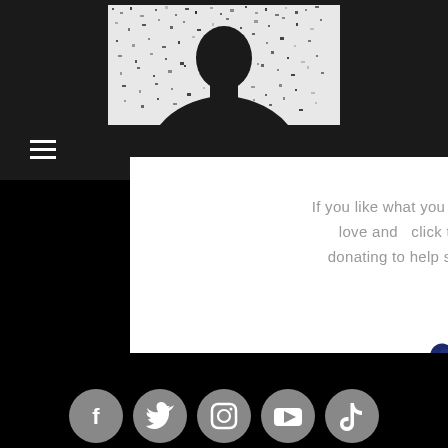[Figure (photo): Black background with a silhouette of a person in front of a white noisy/static rectangle, viewed from behind]
If you like what you find here, show some love and  click the heart below to donating to help support future work.
[Figure (illustration): Dark navy blue heart icon]
Search By Tags
No tags yet.
[Figure (other): Row of social media icons: Facebook, Twitter, Instagram, YouTube, TikTok]